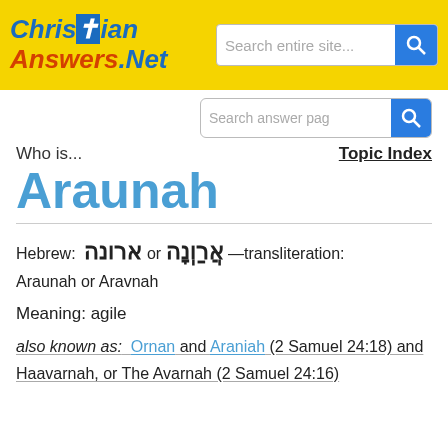[Figure (logo): ChristianAnswers.Net logo with colorful stylized text on yellow background]
Who is...
Topic Index
Araunah
Hebrew: ארונה or אֲרַוְנָה —transliteration: Araunah or Aravnah
Meaning: agile
also known as: Ornan and Araniah (2 Samuel 24:18) and Haavarnah, or The Avarnah (2 Samuel 24:16)